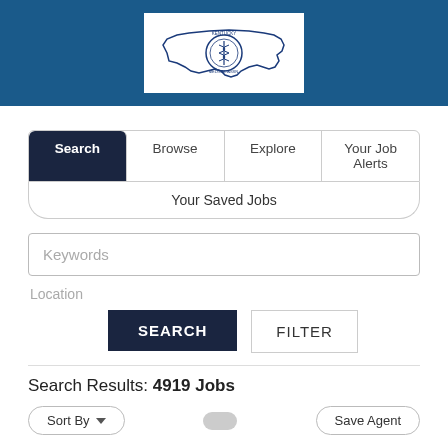[Figure (logo): Kentucky Medical Association logo — outline of Kentucky state with a circular seal/emblem in the center, in dark blue on white background]
Search | Browse | Explore | Your Job Alerts
Your Saved Jobs
Keywords
Location
SEARCH
FILTER
Search Results: 4919 Jobs
Sort By
Save Agent